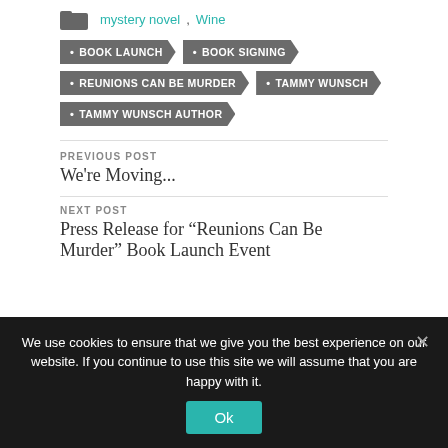mystery novel, Wine
BOOK LAUNCH
BOOK SIGNING
REUNIONS CAN BE MURDER
TAMMY WUNSCH
TAMMY WUNSCH AUTHOR
PREVIOUS POST
We're Moving...
NEXT POST
Press Release for “Reunions Can Be Murder” Book Launch Event
We use cookies to ensure that we give you the best experience on our website. If you continue to use this site we will assume that you are happy with it.